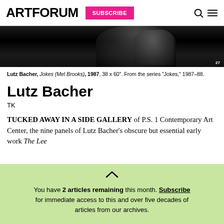ARTFORUM | SUBSCRIBE
[Figure (photo): Black and white photograph, cropped, dark image with a figure visible]
Lutz Bacher, Jokes (Mel Brooks), 1987, 38 x 60". From the series "Jokes," 1987–88.
Lutz Bacher
TK
TUCKED AWAY IN A SIDE GALLERY of P.S. 1 Contemporary Art Center, the nine panels of Lutz Bacher's obscure but essential early work The Lee
You have 2 articles remaining this month. Subscribe for immediate access to this and over five decades of articles from our archives.